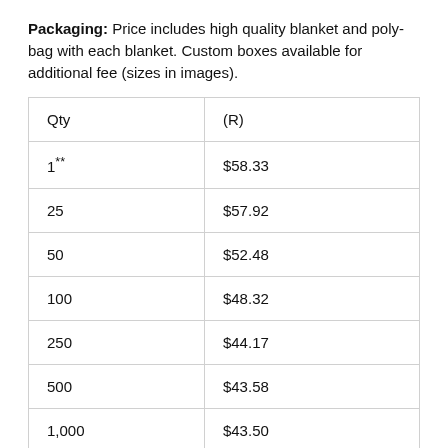Packaging: Price includes high quality blanket and poly-bag with each blanket. Custom boxes available for additional fee (sizes in images).
| Qty | (R) |
| --- | --- |
| 1** | $58.33 |
| 25 | $57.92 |
| 50 | $52.48 |
| 100 | $48.32 |
| 250 | $44.17 |
| 500 | $43.58 |
| 1,000 | $43.50 |
| 2,500 | $43.33 |